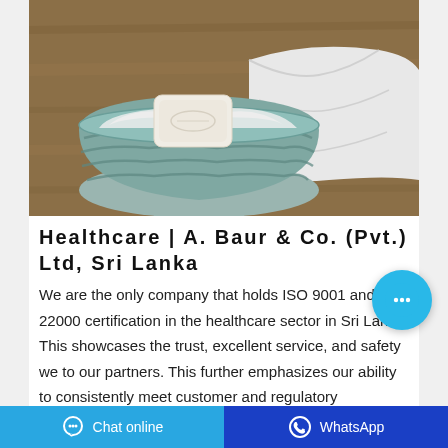[Figure (photo): A woven basket/bowl containing a white soap bar and white folded cloth/towel on a wooden surface.]
Healthcare | A. Baur & Co. (Pvt.) Ltd, Sri Lanka
We are the only company that holds ISO 9001 and 22000 certification in the healthcare sector in Sri Lanka. This showcases the trust, excellent service, and safety we to our partners. This further emphasizes our ability to consistently meet customer and regulatory requirements with highest industry standards.
Chat online   WhatsApp